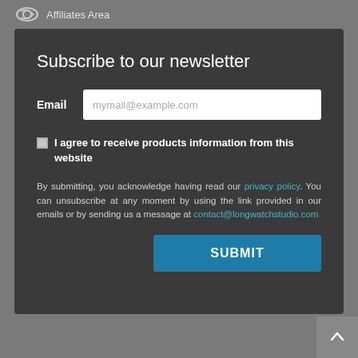Affiliates Area
Subscribe to our newsletter
Email  mymail@example.com
I agree to receive products information from this website
By submitting, you acknowledge having read our privacy policy. You can unsubscribe at any moment by using the link provided in our emails or by sending us a message at contact@longwatchstudio.com
SUBMIT